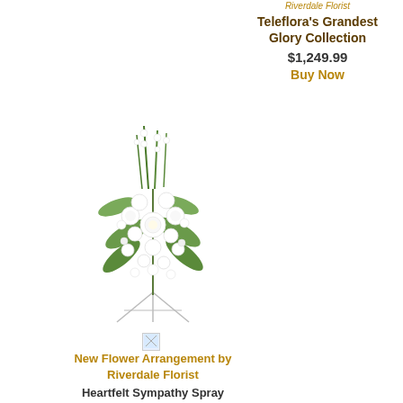Riverdale Florist
Teleflora's Grandest Glory Collection
$1,249.99
Buy Now
[Figure (photo): White floral spray arrangement on a tripod easel stand with white roses, lilies, orchids and greenery]
New Flower Arrangement by Riverdale Florist Heartfelt Sympathy Spray